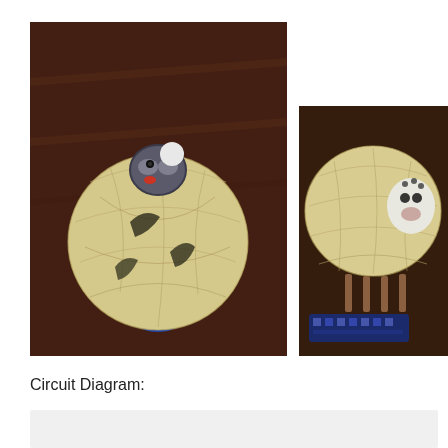[Figure (photo): A yarn/string ball sculpture resembling a bird or animal shape, sitting on a blue cylindrical base, photographed from the front on a dark wooden floor background.]
[Figure (photo): A yarn/string ball sheep sculpture with a felted face and small wooden legs, with an electronic component (Arduino or similar board) visible at the bottom, photographed from the side on a dark surface.]
Circuit Diagram:
[Figure (other): Light gray rectangular area representing a circuit diagram (partially visible at bottom of page).]